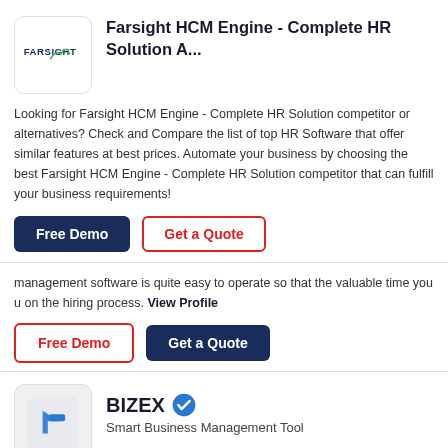[Figure (logo): Farsight logo - white background with FARSIGHT text and green plant/arrow icon]
Farsight HCM Engine - Complete HR Solution A...
Looking for Farsight HCM Engine - Complete HR Solution competitor or alternatives? Check and Compare the list of top HR Software that offer similar features at best prices. Automate your business by choosing the best Farsight HCM Engine - Complete HR Solution competitor that can fulfill your business requirements!
Free Demo
Get a Quote
management software is quite easy to operate so that the valuable time you u on the hiring process. View Profile
Free Demo
Get a Quote
[Figure (logo): BIZEX logo - blue arrow/B icon on light grey background with verified blue checkmark badge]
BIZEX
Smart Business Management Tool
Looking for effective business software to control your business? Look no furth than BIZEX! A unified best business management software. View Prof